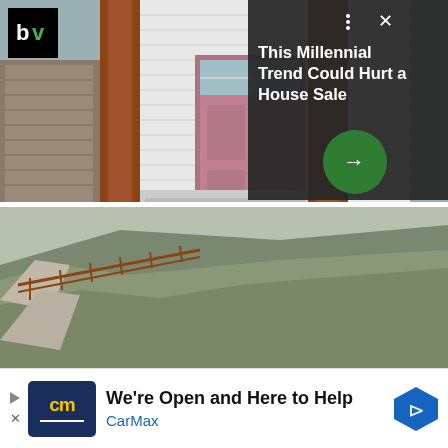[Figure (photo): House with pink door and stone pillars, real estate photo with 'bv' logo overlay and dark card reading 'This Millennial Trend Could Hurt a House Sale' with green arrow button]
[Figure (photo): Hillside pathway with metal railing, outdoor landscape photo]
To further his concept of "arcology," a fusion of architecture and ecology, Italian architect Paolo Soleri conceived of and began construction on an experimental settlement that
[Figure (infographic): CarMax advertisement banner: 'We're Open and Here to Help CarMax' with CarMax logo and navigation icon]